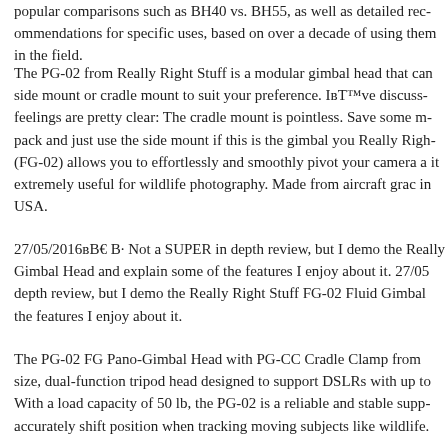popular comparisons such as BH40 vs. BH55, as well as detailed recommendations for specific uses, based on over a decade of using them in the field.
The PG-02 from Really Right Stuff is a modular gimbal head that can be configured as a side mount or cradle mount to suit your preference. I've discussed my feelings are pretty clear: The cradle mount is pointless. Save some money, save some pack and just use the side mount if this is the gimbal you Really Right (FG-02) allows you to effortlessly and smoothly pivot your camera and it extremely useful for wildlife photography. Made from aircraft grade in USA.
27/05/2016B B· Not a SUPER in depth review, but I demo the Really Gimbal Head and explain some of the features I enjoy about it. 27/05 depth review, but I demo the Really Right Stuff FG-02 Fluid Gimbal the features I enjoy about it.
The PG-02 FG Pano-Gimbal Head with PG-CC Cradle Clamp from size, dual-function tripod head designed to support DSLRs with up to With a load capacity of 50 lb, the PG-02 is a reliable and stable supp accurately shift position when tracking moving subjects like wildlife.